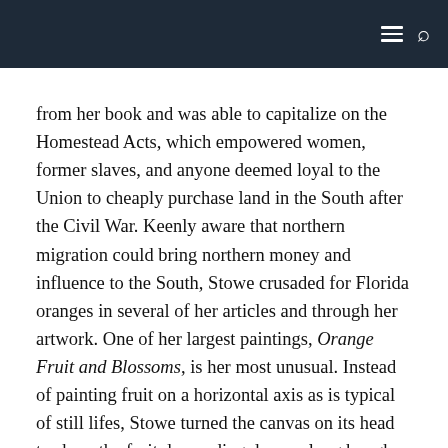[navigation bar with menu and search icons]
from her book and was able to capitalize on the Homestead Acts, which empowered women, former slaves, and anyone deemed loyal to the Union to cheaply purchase land in the South after the Civil War. Keenly aware that northern migration could bring northern money and influence to the South, Stowe crusaded for Florida oranges in several of her articles and through her artwork. One of her largest paintings, Orange Fruit and Blossoms, is her most unusual. Instead of painting fruit on a horizontal axis as is typical of still lifes, Stowe turned the canvas on its head to show the fruit descending down a long bough. White blossoms dangle from branches like jewelry—a fitting metaphor since Stowe described the period in which orange blossoms begin to bud as “the week of pearls.” She described the process in February of 1880, writing to a friend, “My part this winter has been